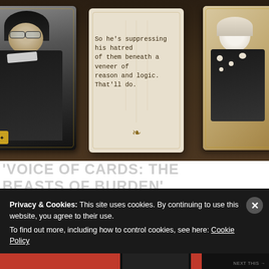[Figure (photo): A dark wooden table with playing/story cards arranged on it. A center cream-colored card reads 'So he's suppressing his hatred of them beneath a veneer of reason and logic. That'll do.' A character card on the left shows a dark-clad anime-style figure. A decorative card is visible on the right.]
'VOICE OF CARDS: THE BEASTS OF BURDEN' DROPS SEPTEMBER 13!
For...
Privacy & Cookies: This site uses cookies. By continuing to use this website, you agree to their use.
To find out more, including how to control cookies, see here: Cookie Policy